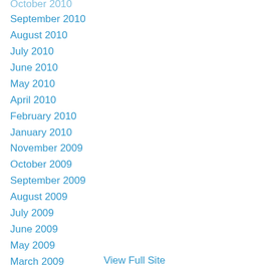October 2010
September 2010
August 2010
July 2010
June 2010
May 2010
April 2010
February 2010
January 2010
November 2009
October 2009
September 2009
August 2009
July 2009
June 2009
May 2009
March 2009
View Full Site